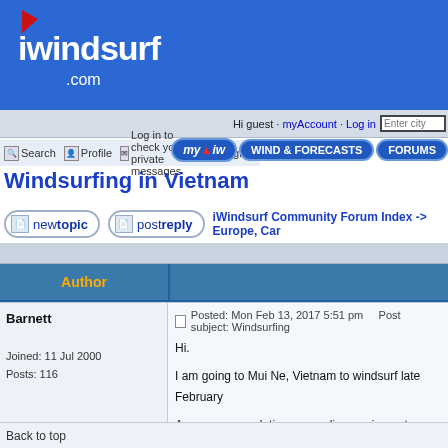[Figure (logo): iwindsurf.com logo on blue background header]
Hi guest · myAccount · Log in | Enter city | myiw | WIND & FORECASTS | FORUMS
Search | Profile | Log in to check your private messages | Register
Windsurfing in Vietnam
new topic | post reply | iWindsurf Community Forum Index -> Europe, Car...
| Author |  |
| --- | --- |
| Barnett

Joined: 11 Jul 2000
Posts: 116 | Posted: Mon Feb 13, 2017 5:51 pm    Post subject: Windsurfing...
Hi.

I am going to Mui Ne, Vietnam to windsurf late February...

Any recommendations regarding equipment rental optio...

Also any other comments (where to stay, conditions, an...

Thanks.

anitje |
Back to top